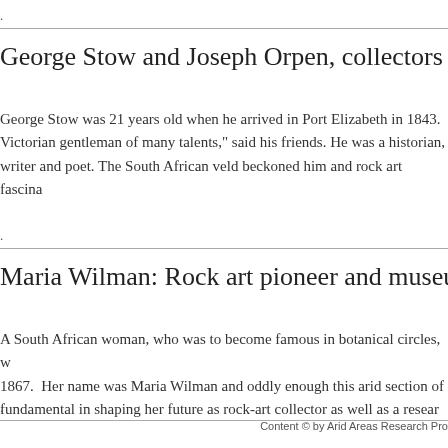.
George Stow and Joseph Orpen, collectors of ro...
George Stow was 21 years old when he arrived in Port Elizabeth in 1843. "A Victorian gentleman of many talents," said his friends. He was a historian, writer and poet. The South African veld beckoned him and rock art fascina...
.
Maria Wilman: Rock art pioneer and museum cur...
A South African woman, who was to become famous in botanical circles, w... 1867.  Her name was Maria Wilman and oddly enough this arid section of... fundamental in shaping her future as rock-art collector as well as a resear...
.
Content © by Arid Areas Research Pro...